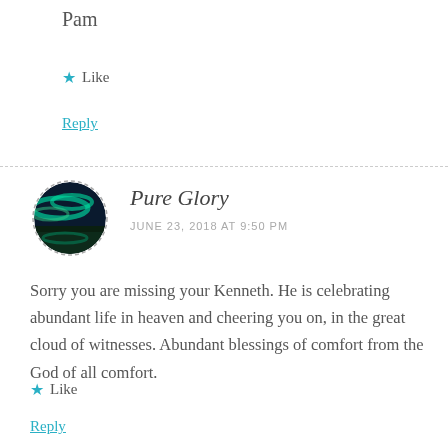Pam
★ Like
Reply
[Figure (illustration): Circular avatar photo with dashed border showing a northern lights / aurora borealis landscape scene]
Pure Glory
JUNE 23, 2018 AT 9:50 PM
Sorry you are missing your Kenneth. He is celebrating abundant life in heaven and cheering you on, in the great cloud of witnesses. Abundant blessings of comfort from the God of all comfort.
★ Like
Reply